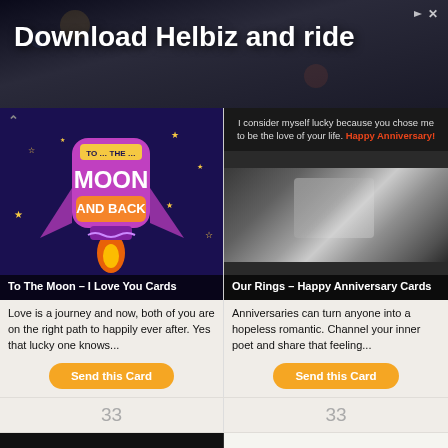[Figure (screenshot): Advertisement banner: 'Download Helbiz and ride' on dark city background]
[Figure (illustration): Greeting card: To The Moon and Back – animated rocket illustration on dark blue background with stars]
To The Moon – I Love You Cards
[Figure (photo): Anniversary greeting card with diamond ring photo and quote about being the love of your life, Happy Anniversary!]
Our Rings – Happy Anniversary Cards
Love is a journey and now, both of you are on the right path to happily ever after. Yes that lucky one knows...
Anniversaries can turn anyone into a hopeless romantic. Channel your inner poet and share that feeling...
33
33
[Figure (illustration): Thinking of You and Hoping You're Having a Perfect – dark background with white italic bold text]
[Figure (illustration): Thinking of You and Hoping You are Smiling Today! – light background with orange and black bold italic text]